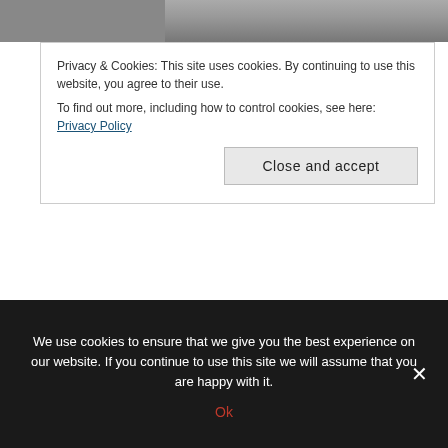[Figure (photo): Partial view of a person or scene at the top of the page, dark tones with some green and yellow text visible]
Privacy & Cookies: This site uses cookies. By continuing to use this website, you agree to their use.
To find out more, including how to control cookies, see here: Privacy Policy
Close and accept
I think decorating the home is some kind of primal urge built deep into my cell structure. Not that I want to over-decorate or spend tons of money on new furniture, but I do want to make the home a nice and inviting place for my
We use cookies to ensure that we give you the best experience on our website. If you continue to use this site we will assume that you are happy with it.
Ok